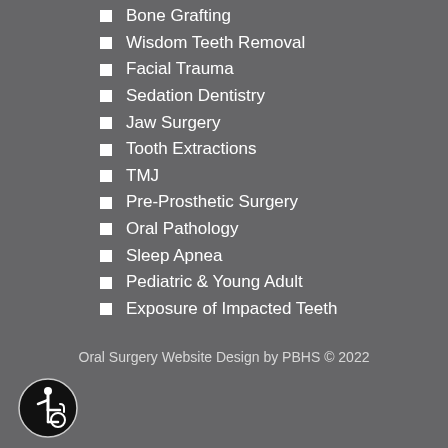Bone Grafting
Wisdom Teeth Removal
Facial Trauma
Sedation Dentistry
Jaw Surgery
Tooth Extractions
TMJ
Pre-Prosthetic Surgery
Oral Pathology
Sleep Apnea
Pediatric & Young Adult
Exposure of Impacted Teeth
Oral Surgery Website Design by PBHS © 2022
[Figure (illustration): Accessibility wheelchair icon in a black circle]